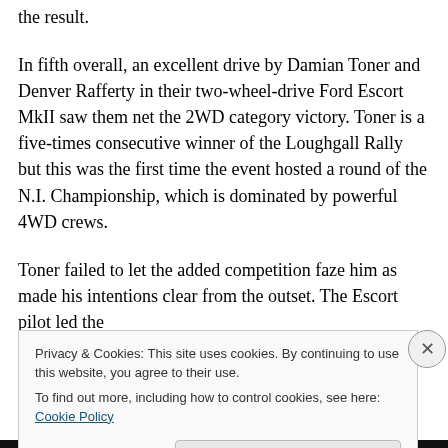the result.
In fifth overall, an excellent drive by Damian Toner and Denver Rafferty in their two-wheel-drive Ford Escort MkII saw them net the 2WD category victory. Toner is a five-times consecutive winner of the Loughgall Rally but this was the first time the event hosted a round of the N.I. Championship, which is dominated by powerful 4WD crews.
Toner failed to let the added competition faze him as made his intentions clear from the outset. The Escort pilot led the
Privacy & Cookies: This site uses cookies. By continuing to use this website, you agree to their use.
To find out more, including how to control cookies, see here: Cookie Policy
Close and accept